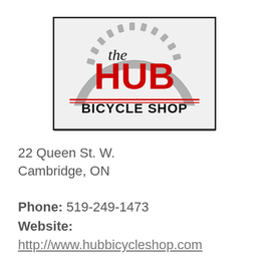[Figure (logo): The Hub Bicycle Shop logo — a grey gear/sprocket arc with bold red 'HUB' text and italic script 'the' on top, 'BICYCLE SHOP' in black below, inside a rectangular bordered box]
22 Queen St. W.
Cambridge, ON
Phone: 519-249-1473
Website:
http://www.hubbicycleshop.com